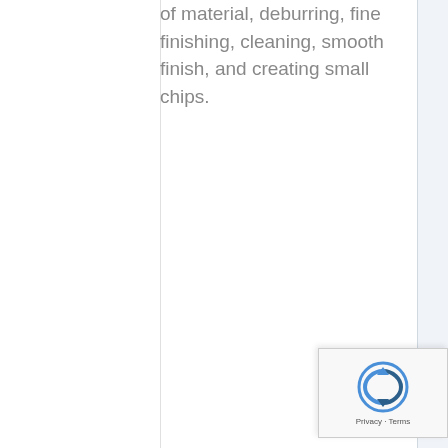of material, deburring, fine finishing, cleaning, smooth finish, and creating small chips.